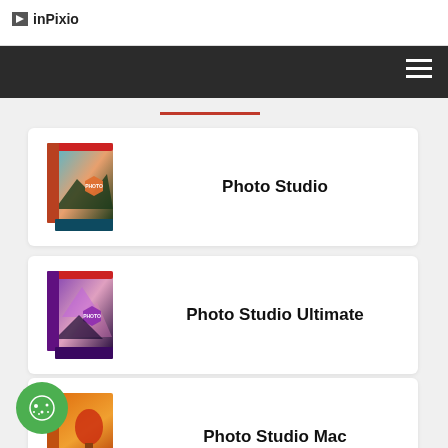inPixio
[Figure (screenshot): inPixio website navigation showing hamburger menu on dark bar]
[Figure (illustration): Photo Studio product box - blue/teal mountain landscape design]
Photo Studio
[Figure (illustration): Photo Studio Ultimate product box - purple/pink geometric design]
Photo Studio Ultimate
[Figure (illustration): Photo Studio Mac product box - orange sunset hot air balloon design]
Photo Studio Mac